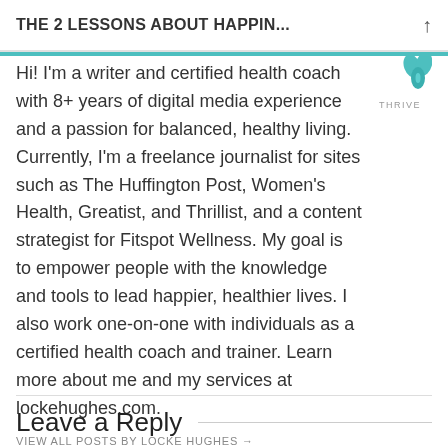THE 2 LESSONS ABOUT HAPPIN...
[Figure (logo): Thrive magazine logo with teal leaf/droplet shapes above text THRIVE]
Hi! I'm a writer and certified health coach with 8+ years of digital media experience and a passion for balanced, healthy living. Currently, I'm a freelance journalist for sites such as The Huffington Post, Women's Health, Greatist, and Thrillist, and a content strategist for Fitspot Wellness. My goal is to empower people with the knowledge and tools to lead happier, healthier lives. I also work one-on-one with individuals as a certified health coach and trainer. Learn more about me and my services at lockehughes.com.
VIEW ALL POSTS BY LOCKE HUGHES →
Leave a Reply